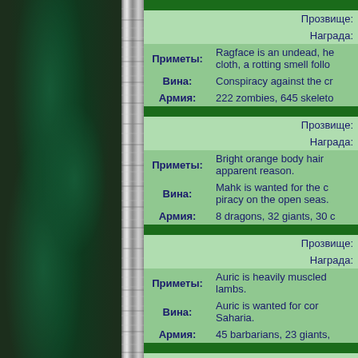|  | Прозвище: |
|  | Награда: |
| Приметы: | Ragface is an undead, he... cloth, a rotting smell follo... |
| Вина: | Conspiracy against the cr... |
| Армия: | 222 zombies, 645 skelet... |
|  |  |
|  | Прозвище: |
|  | Награда: |
| Приметы: | Bright orange body hair ... apparent reason. |
| Вина: | Mahk is wanted for the c... piracy on the open seas. |
| Армия: | 8 dragons, 32 giants, 30 c... |
|  |  |
|  | Прозвище: |
|  | Награда: |
| Приметы: | Auric is heavily muscled... lambs. |
| Вина: | Auric is wanted for cor... Saharia. |
| Армия: | 45 barbarians, 23 giants,... |
|  |  |
|  | Прозвище: |
|  | Награда: |